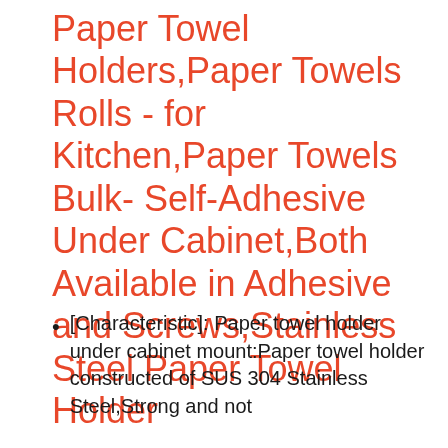Paper Towel Holders,Paper Towels Rolls - for Kitchen,Paper Towels Bulk- Self-Adhesive Under Cabinet,Both Available in Adhesive and Screws,Stainless Steel Paper Towel Holder
[Characteristic]: Paper towel holder under cabinet mount:Paper towel holder constructed of SUS 304 Stainless Steel,Strong and not